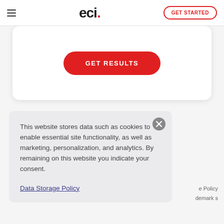[Figure (screenshot): ECI website navigation bar with hamburger menu, ECI logo, and GET STARTED button]
[Figure (screenshot): White card with red rounded GET RESULTS button]
This website stores data such as cookies to enable essential site functionality, as well as marketing, personalization, and analytics. By remaining on this website you indicate your consent.
Data Storage Policy